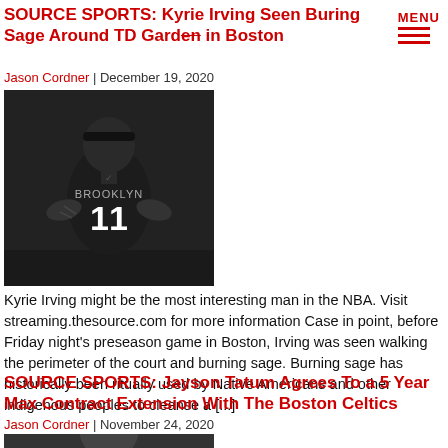SOURCE SPORTS: Kyrie Irving Seen Buring Sage Around TD Garden in Boston
Jason Cordner | December 19, 2020
[Figure (photo): Photo of Kyrie Irving in Brooklyn Nets #11 jersey]
Kyrie Irving might be the most interesting man in the NBA. Visit streaming.thesource.com for more information Case in point, before Friday night's preseason game in Boston, Irving was seen walking the perimeter of the court and burning sage. Burning sage has historically been ritually used by Native Americans and other indigenous peoples to cleanse a [...]
SOURCE SPORTS: Jayson Tatum Agrees To a 5 Year Max Contract Extension With The Boston Celtics
Jason Cordner | November 24, 2020
[Figure (photo): Photo of Jayson Tatum (partially visible)]